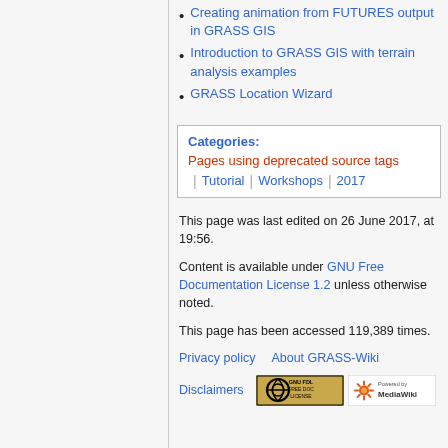Creating animation from FUTURES output in GRASS GIS
Introduction to GRASS GIS with terrain analysis examples
GRASS Location Wizard
Categories: Pages using deprecated source tags | Tutorial | Workshops | 2017
This page was last edited on 26 June 2017, at 19:56.
Content is available under GNU Free Documentation License 1.2 unless otherwise noted.
This page has been accessed 119,389 times.
Privacy policy   About GRASS-Wiki
Disclaimers